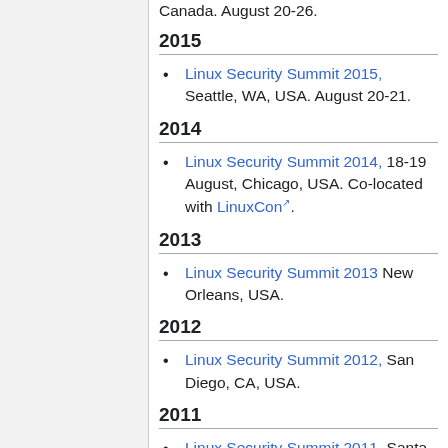Canada. August 20-26.
2015
Linux Security Summit 2015, Seattle, WA, USA. August 20-21.
2014
Linux Security Summit 2014, 18-19 August, Chicago, USA. Co-located with LinuxCon.
2013
Linux Security Summit 2013 New Orleans, USA.
2012
Linux Security Summit 2012, San Diego, CA, USA.
2011
Linux Security Summit 2011, Santa